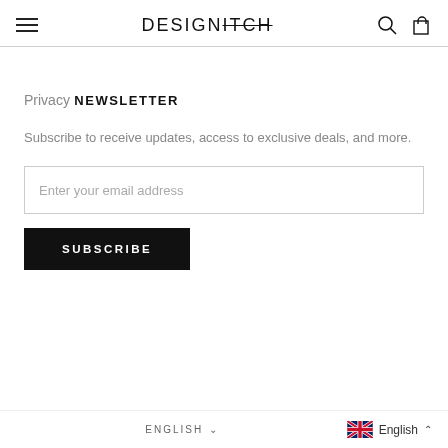DESIGNITCH
Privacy
NEWSLETTER
Subscribe to receive updates, access to exclusive deals, and more.
Enter your email address
SUBSCRIBE
ENGLISH  English